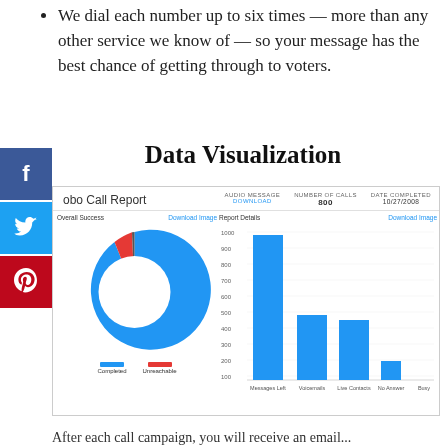We dial each number up to six times — more than any other service we know of — so your message has the best chance of getting through to voters.
Data Visualization
[Figure (screenshot): Robo Call Report dashboard screenshot showing a donut chart of Overall Success (Completed vs Unreachable) and a bar chart of Report Details (Messages Left, Voicemails, Live Contacts, No Answer, Busy). Header shows Audio Message Download, Number of Calls 800, Date Completed 10/27/2008.]
After each call campaign, you will receive an email...